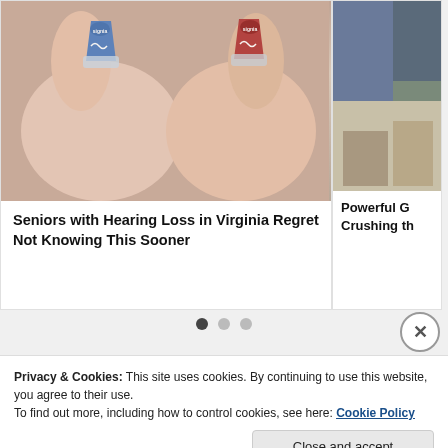[Figure (photo): Two small hearing aids (one blue, one red) held between fingers, close-up photo]
Seniors with Hearing Loss in Virginia Regret Not Knowing This Sooner
[Figure (photo): Partially visible second card with a photo, cropped at right edge]
Powerful G Crushing th
Privacy & Cookies: This site uses cookies. By continuing to use this website, you agree to their use.
To find out more, including how to control cookies, see here: Cookie Policy
Close and accept